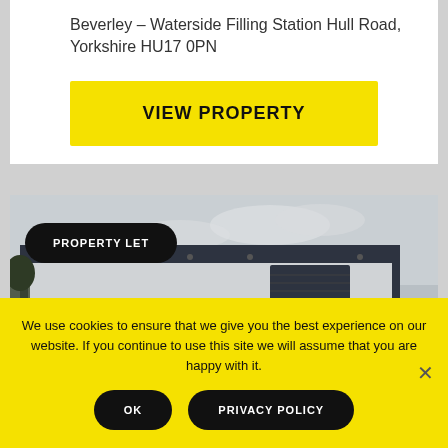Beverley - Waterside Filling Station Hull Road, Yorkshire HU17 0PN
VIEW PROPERTY
[Figure (photo): Exterior photo of an industrial warehouse/unit with dark cladding, a large roller shutter door, fencing, and overcast sky. A 'PROPERTY LET' badge is overlaid on the image.]
We use cookies to ensure that we give you the best experience on our website. If you continue to use this site we will assume that you are happy with it.
OK
PRIVACY POLICY